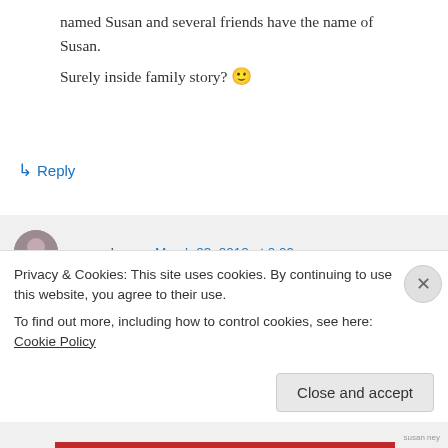named Susan and several friends have the name of Susan.
Surely inside family story? 🙂
↳ Reply
susanshay on March 23, 2012 at 9:09 pm
Yes, it's one of those family things, Larry.
It's too good a story to waste on a comment. I'll blog about it one day this
Privacy & Cookies: This site uses cookies. By continuing to use this website, you agree to their use.
To find out more, including how to control cookies, see here: Cookie Policy
Close and accept